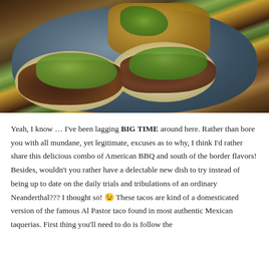[Figure (photo): Photograph of tacos with guacamole and pulled meat on flour tortillas on a blue plate, with nachos topped with cheese and jalapeños in the background.]
Yeah, I know … I've been lagging BIG TIME around here. Rather than bore you with all mundane, yet legitimate, excuses as to why, I think I'd rather share this delicious combo of American BBQ and south of the border flavors! Besides, wouldn't you rather have a delectable new dish to try instead of being up to date on the daily trials and tribulations of an ordinary Neanderthal??? I thought so! 😉 These tacos are kind of a domesticated version of the famous Al Pastor taco found in most authentic Mexican taquerias. First thing you'll need to do is follow the